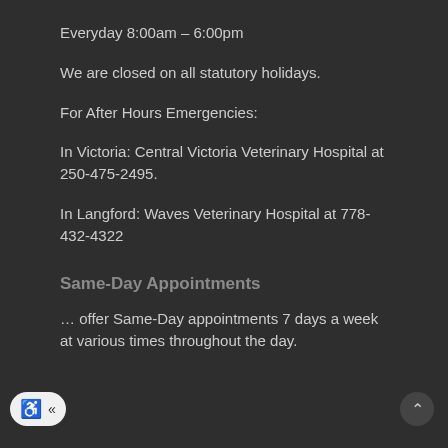Everyday 8:00am – 6:00pm
We are closed on all statutory holidays.
For After Hours Emergencies:
In Victoria: Central Victoria Veterinary Hospital at 250-475-2495.
In Langford: Waves Veterinary Hospital at 778-432-4322
Same-Day Appointments
…offer Same-Day appointments 7 days a week at various times throughout the day.